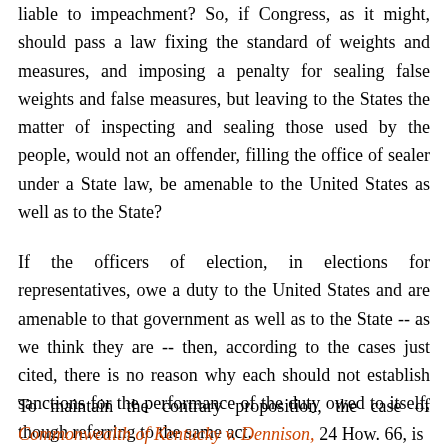liable to impeachment? So, if Congress, as it might, should pass a law fixing the standard of weights and measures, and imposing a penalty for sealing false weights and false measures, but leaving to the States the matter of inspecting and sealing those used by the people, would not an offender, filling the office of sealer under a State law, be amenable to the United States as well as to the State?
If the officers of election, in elections for representatives, owe a duty to the United States and are amenable to that government as well as to the State -- as we think they are -- then, according to the cases just cited, there is no reason why each should not establish sanctions for the performance of the duty owed to itself, though referring to the same act.
To maintain the contrary proposition, the case of Commonwealth of Kentucky v. Dennison, 24 How. 66, is